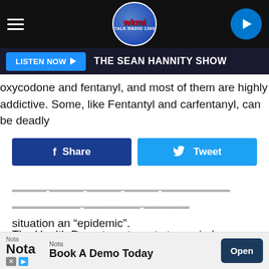[Figure (screenshot): WKMI Talk Radio 1360 logo navigation bar with hamburger menu, logo, and play button]
[Figure (screenshot): Listen Now button bar showing 'THE SEAN HANNITY SHOW']
oxycodone and fentanyl, and most of them are highly addictive. Some, like Fentantyl and carfentanyl, can be deadly
[Figure (screenshot): Social sharing buttons: Share (Facebook) and Tweet (Twitter)]
situation an “epidemic”.
The Health Department wants to remind residents that if you or someone nearby is having an overdose, you should call 911 immediately, as Michigan law protects those with small amounts of drugs from criminal charges if they are seeking
[Figure (screenshot): Nota advertisement banner: Book A Demo Today with Open button]